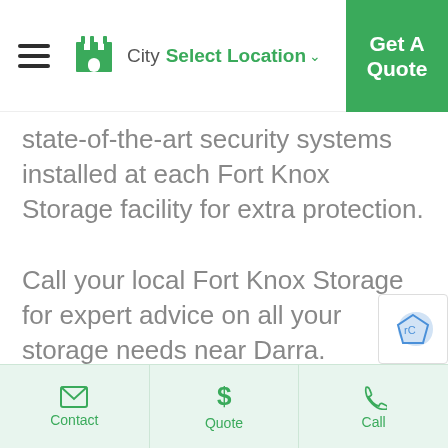City Select Location  Get A Quote
state-of-the-art security systems installed at each Fort Knox Storage facility for extra protection.
Call your local Fort Knox Storage for expert advice on all your storage needs near Darra.
Does storage units have cameras in them?
At the Fort Knox Storage facilities the
Contact  Quote  Call